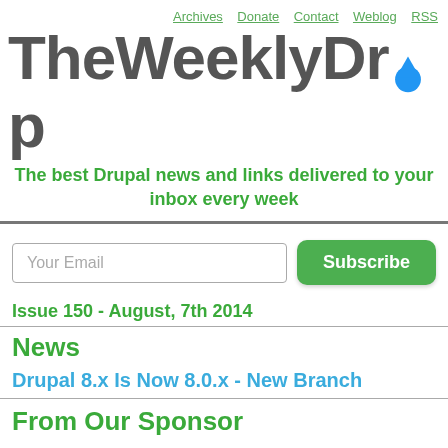Archives | Donate | Contact | Weblog | RSS
TheWeeklyDrop
The best Drupal news and links delivered to your inbox every week
Your Email [Subscribe button]
Issue 150 - August, 7th 2014
News
Drupal 8.x Is Now 8.0.x - New Branch
From Our Sponsor